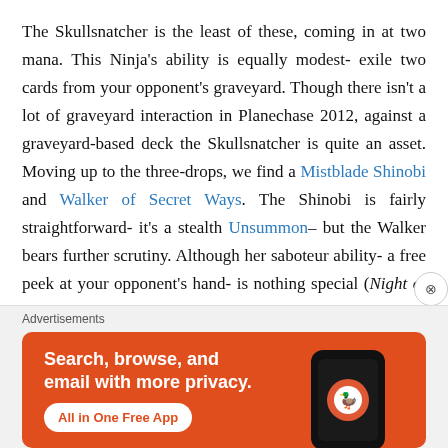The Skullsnatcher is the least of these, coming in at two mana. This Ninja's ability is equally modest- exile two cards from your opponent's graveyard. Though there isn't a lot of graveyard interaction in Planechase 2012, against a graveyard-based deck the Skullsnatcher is quite an asset. Moving up to the three-drops, we find a Mistblade Shinobi and Walker of Secret Ways. The Shinobi is fairly straightforward- it's a stealth Unsummon– but the Walker bears further scrutiny. Although her saboteur ability- a free peek at your opponent's hand- is nothing special (Night of the Ninja packs only one counterspell), returning a Ninja to hand can be quite useful. Alas, you can only do it during
[Figure (other): DuckDuckGo advertisement banner with orange background showing phone mockup with DuckDuckGo logo. Text: 'Search, browse, and email with more privacy. All in One Free App']